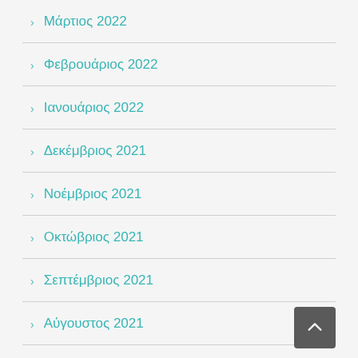Μάρτιος 2022
Φεβρουάριος 2022
Ιανουάριος 2022
Δεκέμβριος 2021
Νοέμβριος 2021
Οκτώβριος 2021
Σεπτέμβριος 2021
Αύγουστος 2021